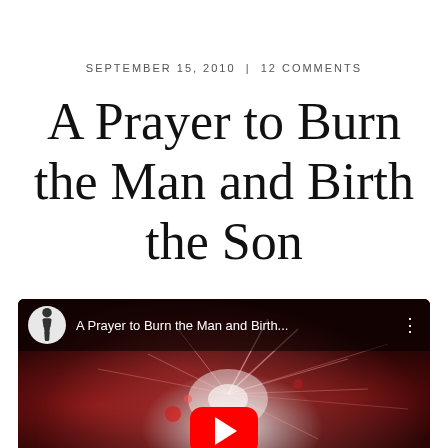SEPTEMBER 15, 2010  |  12 COMMENTS
A Prayer to Burn the Man and Birth the Son
[Figure (screenshot): YouTube video embed showing 'A Prayer to Burn the Man and Birth...' with fireworks background, channel avatar of a human figure, and YouTube play button]